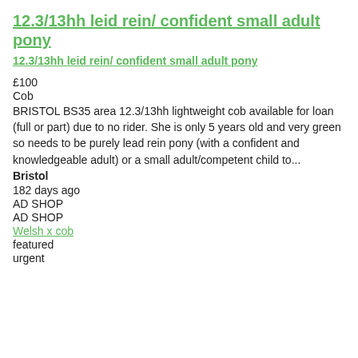12.3/13hh leid rein/ confident small adult pony
12.3/13hh leid rein/ confident small adult pony
£100
Cob
BRISTOL BS35 area 12.3/13hh lightweight cob available for loan (full or part) due to no rider. She is only 5 years old and very green so needs to be purely lead rein pony (with a confident and knowledgeable adult) or a small adult/competent child to...
Bristol
182 days ago
AD SHOP
AD SHOP
Welsh x cob
featured
urgent